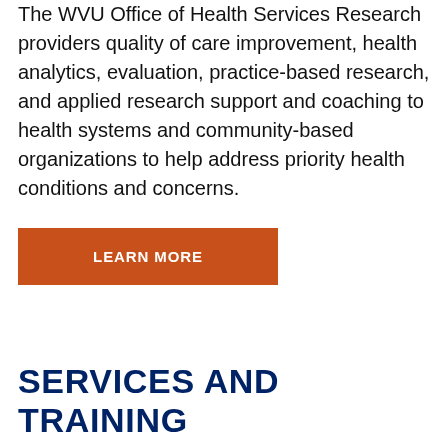The WVU Office of Health Services Research providers quality of care improvement, health analytics, evaluation, practice-based research, and applied research support and coaching to health systems and community-based organizations to help address priority health conditions and concerns.
LEARN MORE
SERVICES AND TRAINING